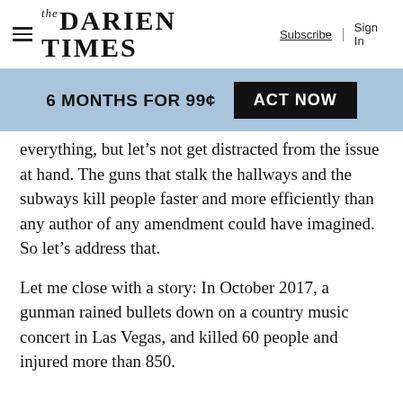The Darien Times — Subscribe | Sign In
[Figure (infographic): Promotional banner: '6 MONTHS FOR 99¢  ACT NOW' on blue background with black button]
everything, but let's not get distracted from the issue at hand. The guns that stalk the hallways and the subways kill people faster and more efficiently than any author of any amendment could have imagined. So let's address that.
Let me close with a story: In October 2017, a gunman rained bullets down on a country music concert in Las Vegas, and killed 60 people and injured more than 850.